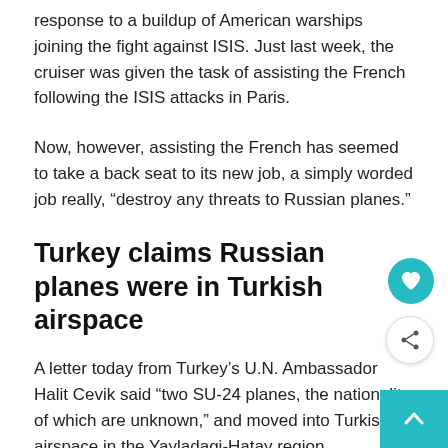response to a buildup of American warships joining the fight against ISIS. Just last week, the cruiser was given the task of assisting the French following the ISIS attacks in Paris.
Now, however, assisting the French has seemed to take a back seat to its new job, a simply worded job really, “destroy any threats to Russian planes.”
Turkey claims Russian planes were in Turkish airspace
A letter today from Turkey’s U.N. Ambassador Halit Cevik said “two SU-24 planes, the nationality of which are unknown,” and moved into Turkish airspace in the Yayladagi-Hatay region.
The letter, obtained Tuesday by The Associated Press, said the two planes were flying at 19,000 feet, disregarded